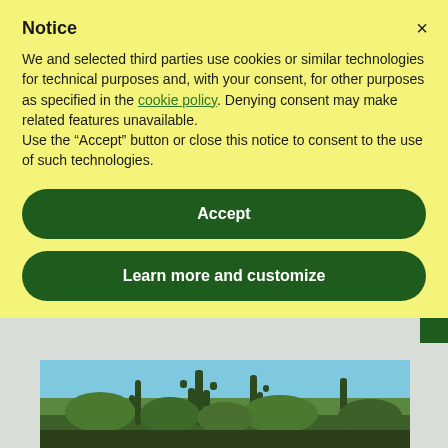Notice
We and selected third parties use cookies or similar technologies for technical purposes and, with your consent, for other purposes as specified in the cookie policy. Denying consent may make related features unavailable.
Use the “Accept” button or close this notice to consent to the use of such technologies.
Accept
Learn more and customize
[Figure (photo): Photograph of desert landscape showing saguaro cacti and shrubs against a blue sky]